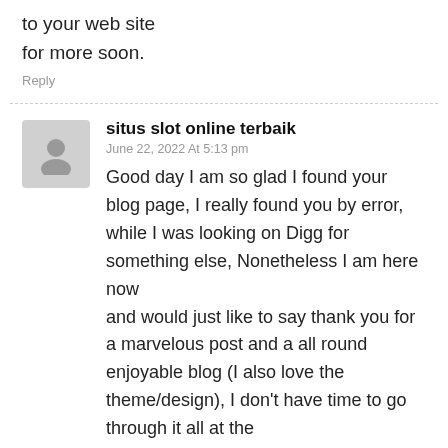to your web site
for more soon.
Reply
situs slot online terbaik
June 22, 2022 At 5:13 pm
Good day I am so glad I found your blog page, I really found you by error, while I was looking on Digg for something else, Nonetheless I am here now and would just like to say thank you for a marvelous post and a all round enjoyable blog (I also love the theme/design), I don't have time to go through it all at the moment but I have book-marked it and also added in your RSS feeds, so when I have time I will be back to read much more. Please do keep